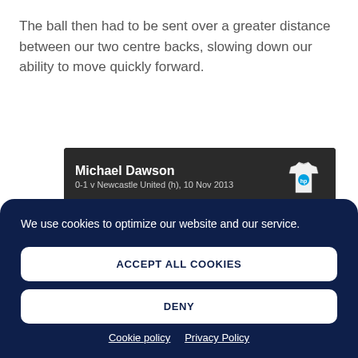The ball then had to be sent over a greater distance between our two centre backs, slowing down our ability to move quickly forward.
[Figure (screenshot): Sports analytics card showing Michael Dawson, match 0-1 v Newcastle United (h), 10 Nov 2013, Passes to Younes Kaboul (16 passes), with a football pitch graphic and a white jersey with HP logo]
We use cookies to optimize our website and our service.
ACCEPT ALL COOKIES
DENY
Cookie policy  Privacy Policy